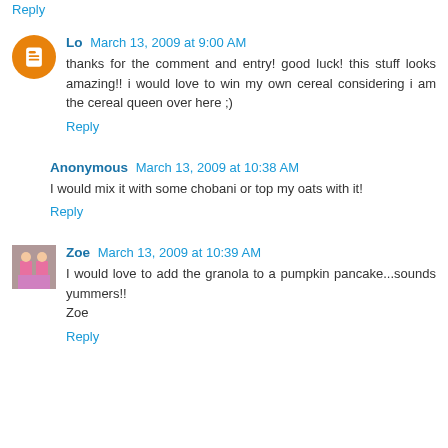Reply
Lo  March 13, 2009 at 9:00 AM
thanks for the comment and entry! good luck! this stuff looks amazing!! i would love to win my own cereal considering i am the cereal queen over here ;)
Reply
Anonymous  March 13, 2009 at 10:38 AM
I would mix it with some chobani or top my oats with it!
Reply
Zoe  March 13, 2009 at 10:39 AM
I would love to add the granola to a pumpkin pancake...sounds yummers!! Zoe
Reply